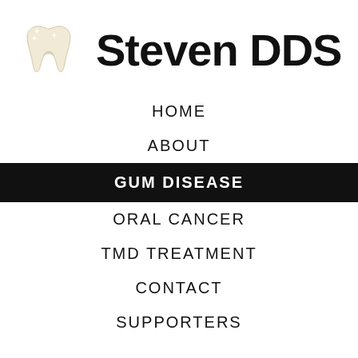[Figure (logo): Tooth emoji icon — a white/cream colored tooth with sparkles]
Steven DDS
HOME
ABOUT
GUM DISEASE
ORAL CANCER
TMD TREATMENT
CONTACT
SUPPORTERS